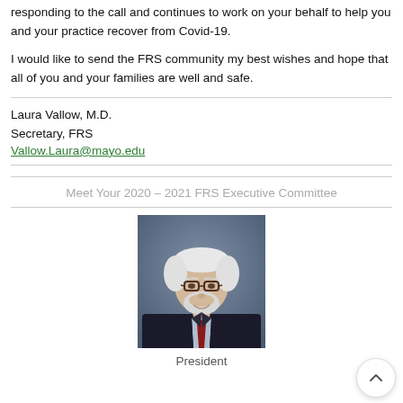responding to the call and continues to work on your behalf to help you and your practice recover from Covid-19.
I would like to send the FRS community my best wishes and hope that all of you and your families are well and safe.
Laura Vallow, M.D.
Secretary, FRS
Vallow.Laura@mayo.edu
Meet Your 2020 – 2021 FRS Executive Committee
[Figure (photo): Headshot of a man with white hair, beard, and glasses wearing a dark suit and red tie, against a blue background. Labeled President.]
President